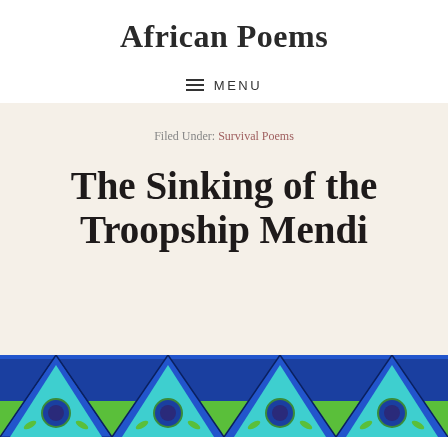African Poems
Menu
Filed Under: Survival Poems
The Sinking of the Troopship Mendi
[Figure (illustration): Decorative African fabric pattern with geometric shapes — triangles, circles in blue, green, cyan, and dark blue colors forming a repeating pattern]